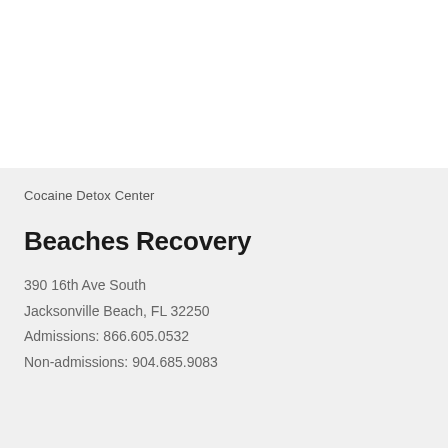Cocaine Detox Center
Beaches Recovery
390 16th Ave South
Jacksonville Beach, FL 32250
Admissions: 866.605.0532
Non-admissions: 904.685.9083